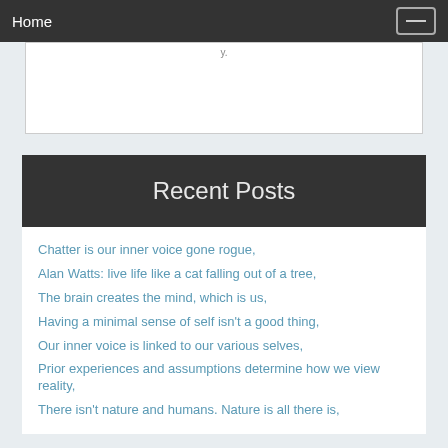Home
Recent Posts
Chatter is our inner voice gone rogue,
Alan Watts: live life like a cat falling out of a tree,
The brain creates the mind, which is us,
Having a minimal sense of self isn't a good thing,
Our inner voice is linked to our various selves,
Prior experiences and assumptions determine how we view reality,
There isn't nature and humans. Nature is all there is,